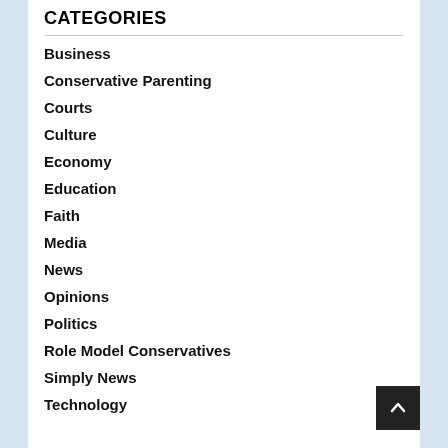CATEGORIES
Business
Conservative Parenting
Courts
Culture
Economy
Education
Faith
Media
News
Opinions
Politics
Role Model Conservatives
Simply News
Technology